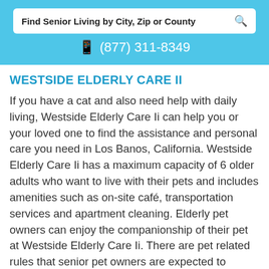Find Senior Living by City, Zip or County
(877) 311-8349
WESTSIDE ELDERLY CARE II
If you have a cat and also need help with daily living, Westside Elderly Care Ii can help you or your loved one to find the assistance and personal care you need in Los Banos, California. Westside Elderly Care Ii has a maximum capacity of 6 older adults who want to live with their pets and includes amenities such as on-site café, transportation services and apartment cleaning. Elderly pet owners can enjoy the companionship of their pet at Westside Elderly Care Ii. There are pet related rules that senior pet owners are expected to follow.